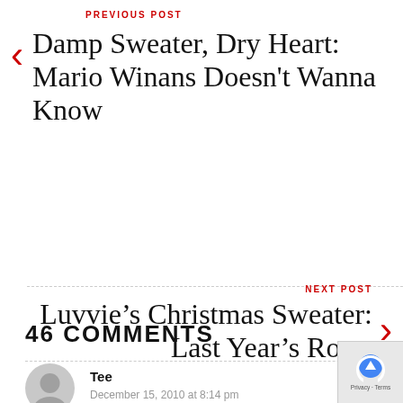PREVIOUS POST
Damp Sweater, Dry Heart: Mario Winans Doesn't Wanna Know
NEXT POST
Luvvie's Christmas Sweater: Last Year's Roast
46 COMMENTS
Tee
December 15, 2010 at 8:14 pm